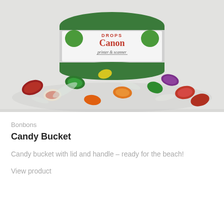[Figure (photo): A candy bucket tin with a green and red label reading 'DROPS Canon printer & scanner', surrounded by colorful wrapped hard candies spilled out on a white surface.]
Bonbons
Candy Bucket
Candy bucket with lid and handle – ready for the beach!
View product